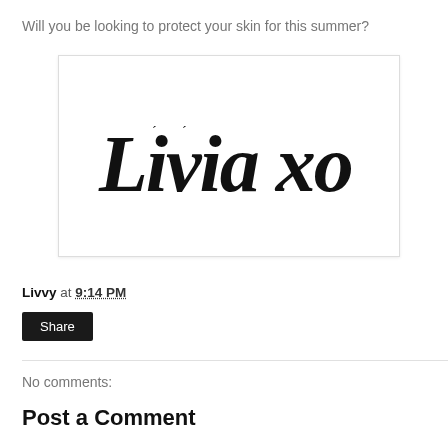Will you be looking to protect your skin for this summer?
[Figure (illustration): Handwritten script signature reading 'Livia xo' in large black cursive lettering on white background with light gray border]
Livvy at 9:14 PM
Share
No comments:
Post a Comment